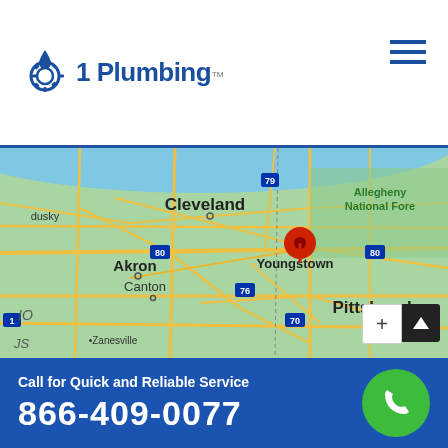[Figure (logo): 1 Plumbing logo with water drop and gear icon in blue]
[Figure (map): Google Maps screenshot showing northeastern Ohio and western Pennsylvania region with Youngstown marked by a red pin. Visible cities include Cleveland, Akron, Canton, Pittsburgh, Zanesville, Sandusky. Interstate highways 79, 80, 76, 70 labeled. Allegheny National Forest shown in upper right. Map zoom controls visible in lower right.]
Call for Quick and Reliable Service
866-409-0077